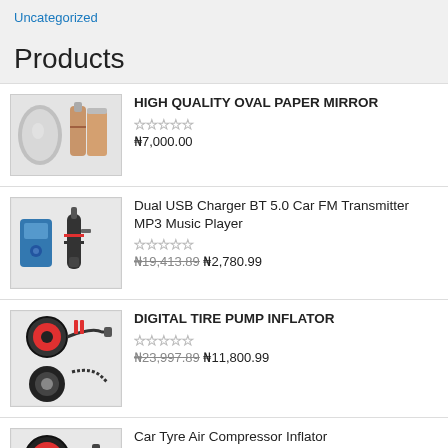Uncategorized
Products
HIGH QUALITY OVAL PAPER MIRROR
☆☆☆☆☆
₦7,000.00
Dual USB Charger BT 5.0 Car FM Transmitter MP3 Music Player
☆☆☆☆☆
₦19,413.89 ₦2,780.99
DIGITAL TIRE PUMP INFLATOR
☆☆☆☆☆
₦23,997.89 ₦11,800.99
Car Tyre Air Compressor Inflator
☆☆☆☆☆
₦11,800.89